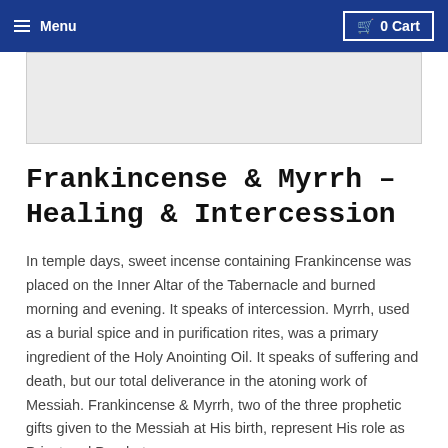☰ Menu   🛒 0 Cart
[Figure (other): Gray banner/advertisement placeholder area]
Frankincense & Myrrh – Healing & Intercession
In temple days, sweet incense containing Frankincense was placed on the Inner Altar of the Tabernacle and burned morning and evening. It speaks of intercession. Myrrh, used as a burial spice and in purification rites, was a primary ingredient of the Holy Anointing Oil. It speaks of suffering and death, but our total deliverance in the atoning work of Messiah. Frankincense & Myrrh, two of the three prophetic gifts given to the Messiah at His birth, represent His role as Priest and Prophet.